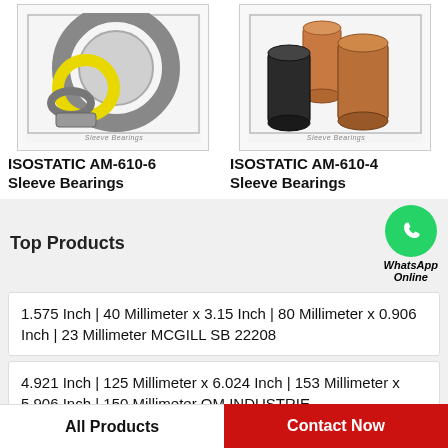[Figure (photo): ISOSTATIC AM-610-6 Sleeve Bearings product image showing metallic rings and yellow seal]
[Figure (photo): ISOSTATIC AM-610-4 Sleeve Bearings product image showing bronze/copper cylindrical bushings]
ISOSTATIC AM-610-6 Sleeve Bearings
ISOSTATIC AM-610-4 Sleeve Bearings
Top Products
[Figure (logo): WhatsApp green circle icon with phone handset, labeled WhatsApp Online]
1.575 Inch | 40 Millimeter x 3.15 Inch | 80 Millimeter x 0.906 Inch | 23 Millimeter MCGILL SB 22208
4.921 Inch | 125 Millimeter x 6.024 Inch | 153 Millimeter x 5.906 Inch | 150 Millimeter QM INDUSTRIE
All Products   Contact Now